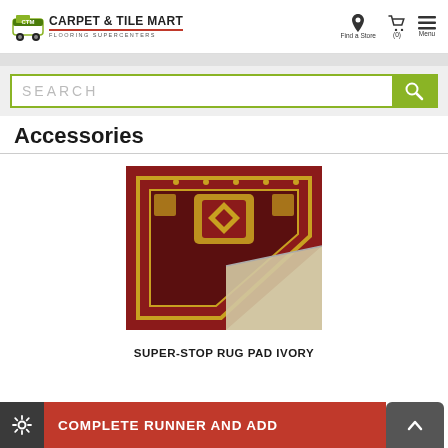CARPET & TILE MART FLOORING SUPERCENTERS — Find a Store | (0) | Menu
SEARCH
Accessories
[Figure (photo): A red patterned area rug partially folded back to show a white non-slip rug pad underneath, placed on a hardwood floor.]
SUPER-STOP RUG PAD IVORY
COMPLETE RUNNER AND ADD